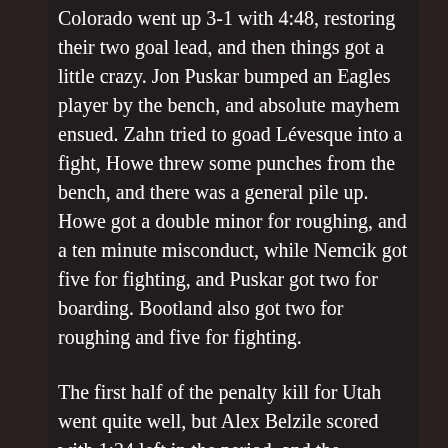Colorado went up 3-1 with 4:48, restoring their two goal lead, and then things got a little crazy. Jon Puskar bumped an Eagles player by the bench, and absolute mayhem ensued. Zahn tried to goad Lévesque into a fight, Howe threw some punches from the bench, and there was a general pile up. Howe got a double minor for roughing, and a ten minute misconduct, while Nemcik got five for fighting, and Puskar got two for boarding. Bootland also got two for roughing and five for fighting.
The first half of the penalty kill for Utah went quite well, but Alex Belzile scored with 1:24 left in the period, and the Grizzlies found the game slipping further out of their reach.
After 40, the Grizzlies trailed 4-1, and had been outshot to the tune of 20-16. It would take a huge